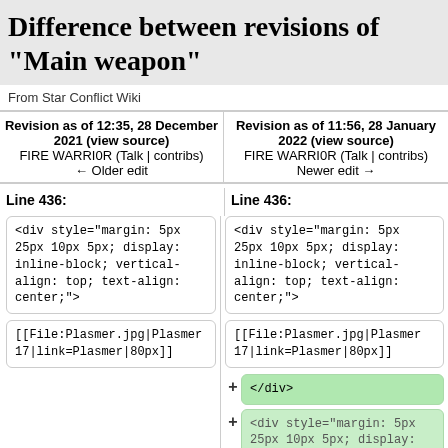Difference between revisions of "Main weapon"
From Star Conflict Wiki
| Revision as of 12:35, 28 December 2021 (view source) | Revision as of 11:56, 28 January 2022 (view source) |
| --- | --- |
| FIRE WARRI0R (Talk | contribs) | FIRE WARRI0R (Talk | contribs) |
| ← Older edit | Newer edit → |
Line 436:
Line 436:
<div style="margin: 5px 25px 10px 5px; display: inline-block; vertical-align: top; text-align: center;">
<div style="margin: 5px 25px 10px 5px; display: inline-block; vertical-align: top; text-align: center;">
[[File:Plasmer.jpg|Plasmer 17|link=Plasmer|80px]]
[[File:Plasmer.jpg|Plasmer 17|link=Plasmer|80px]]
</div>
<div style="margin: 5px 25px 10px 5px; display: inline-block; vertical-align: top; text-align: